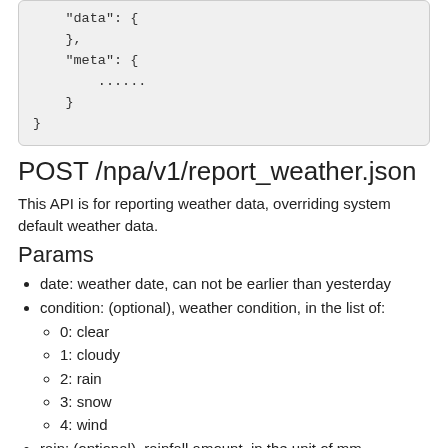"data": {
    },
    "meta": {
        ......
    }
}
POST /npa/v1/report_weather.json
This API is for reporting weather data, overriding system default weather data.
Params
date: weather date, can not be earlier than yesterday
condition: (optional), weather condition, in the list of:
0: clear
1: cloudy
2: rain
3: snow
4: wind
rain: (optional), rainfall amount, in the unit of mm
rain_prob: (optional), rainfall probability, in the range of [0,100]